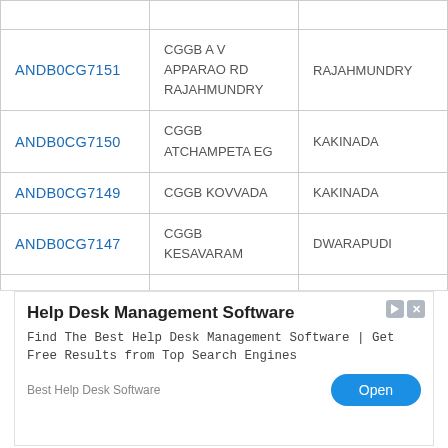| ANDB0CG7151 | CGGB A V APPARAO RD RAJAHMUNDRY | RAJAHMUNDRY |
| ANDB0CG7150 | CGGB ATCHAMPETA EG | KAKINADA |
| ANDB0CG7149 | CGGB KOVVADA | KAKINADA |
| ANDB0CG7147 | CGGB KESAVARAM | DWARAPUDI |
| ANDB0CG7146 | CGGB RAJAPUDI | JAGGAMPETA |
[Figure (other): Advertisement banner for Help Desk Management Software with Open button]